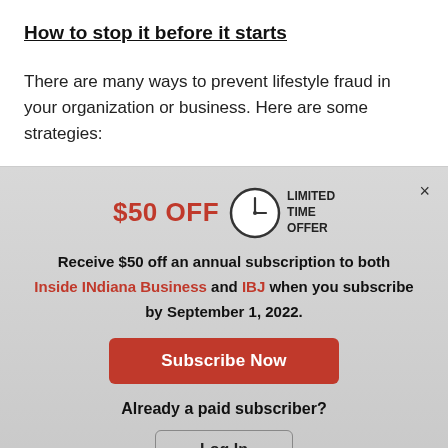How to stop it before it starts
There are many ways to prevent lifestyle fraud in your organization or business. Here are some strategies:
[Figure (infographic): Modal advertisement overlay: $50 OFF limited time offer for an annual subscription to Inside INdiana Business and IBJ when subscribing by September 1, 2022. Contains Subscribe Now button and Log In button for existing subscribers.]